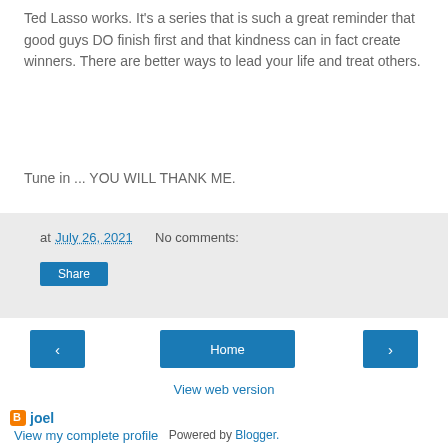Ted Lasso works. It's a series that is such a great reminder that good guys DO finish first and that kindness can in fact create winners. There are better ways to lead your life and treat others.
Tune in ... YOU WILL THANK ME.
at July 26, 2021    No comments:
Share
‹
Home
›
View web version
joel
View my complete profile
Powered by Blogger.